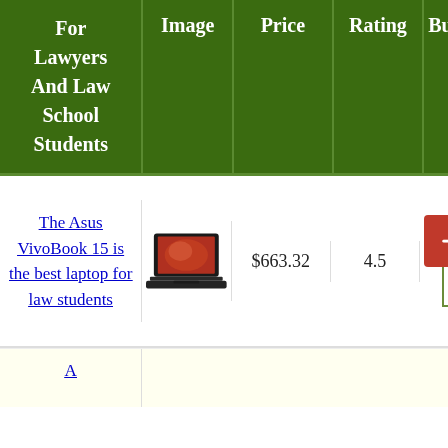| For Lawyers And Law School Students | Image | Price | Rating | Bu[y] |
| --- | --- | --- | --- | --- |
| The Asus VivoBook 15 is the best laptop for law students | [image] | $663.32 | 4.5 | [buy button] |